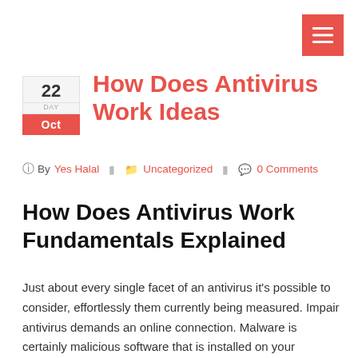[Figure (other): Red hamburger menu button in top right corner]
How Does Antivirus Work Ideas
By Yes Halal  Uncategorized  0 Comments
How Does Antivirus Work Fundamentals Explained
Just about every single facet of an antivirus it's possible to consider, effortlessly them currently being measured. Impair antivirus demands an online connection. Malware is certainly malicious software that is installed on your personal computer usually while not your being aware of and it may put in your PC as a consequence of searching the web in addition to a